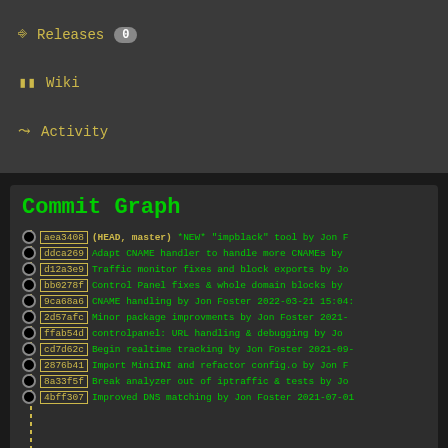Releases 0
Wiki
Activity
Commit Graph
aea3408 (HEAD, master) *NEW* "impblack" tool by Jon F
ddca269 Adapt CNAME handler to handle more CNAMEs by
d12a3e9 Traffic monitor fixes and block exports by Jo
bb0278f Control Panel fixes & whole domain blocks by
9ca68a6 CNAME handling by Jon Foster 2022-03-21 15:04:
2d57afc Minor package improvments by Jon Foster 2021-
ffab54d controlpanel: URL handling & debugging by Jo
cd7d62c Begin realtime tracking by Jon Foster 2021-09-
2876b41 Import MiniINI and refactor config.o by Jon F
8a33f5f Break analyzer out of iptraffic & tests by Jo
4bff307 Improved DNS matching by Jon Foster 2021-07-01